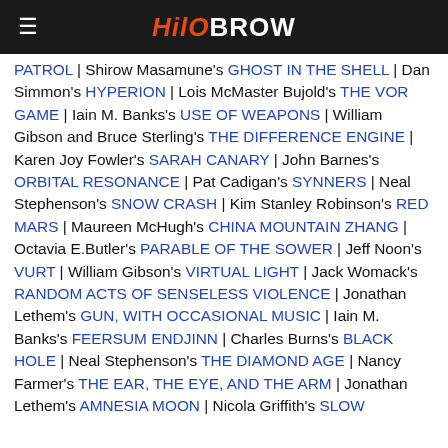HiloBrow
PATROL | Shirow Masamune's GHOST IN THE SHELL | Dan Simmon's HYPERION | Lois McMaster Bujold's THE VOR GAME | Iain M. Banks's USE OF WEAPONS | William Gibson and Bruce Sterling's THE DIFFERENCE ENGINE | Karen Joy Fowler's SARAH CANARY | John Barnes's ORBITAL RESONANCE | Pat Cadigan's SYNNERS | Neal Stephenson's SNOW CRASH | Kim Stanley Robinson's RED MARS | Maureen McHugh's CHINA MOUNTAIN ZHANG | Octavia E.Butler's PARABLE OF THE SOWER | Jeff Noon's VURT | William Gibson's VIRTUAL LIGHT | Jack Womack's RANDOM ACTS OF SENSELESS VIOLENCE | Jonathan Lethem's GUN, WITH OCCASIONAL MUSIC | Iain M. Banks's FEERSUM ENDJINN | Charles Burns's BLACK HOLE | Neal Stephenson's THE DIAMOND AGE | Nancy Farmer's THE EAR, THE EYE, AND THE ARM | Jonathan Lethem's AMNESIA MOON | Nicola Griffith's SLOW